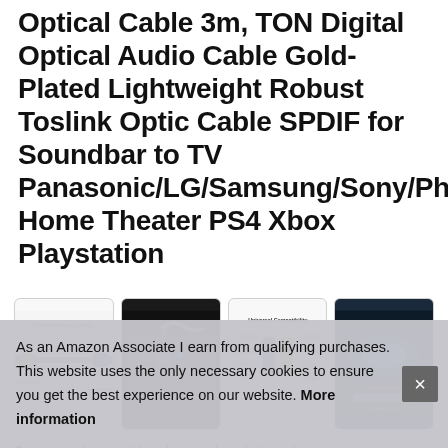Optical Cable 3m, TON Digital Optical Audio Cable Gold-Plated Lightweight Robust Toslink Optic Cable SPDIF for Soundbar to TV Panasonic/LG/Samsung/Sony/Philips Home Theater PS4 Xbox Playstation
[Figure (photo): Four product images: (1) cable diagram with labels, (2) cable plugged into dark device, (3) universal compatibility infographic, (4) TV lifestyle scene]
Superior Quality... last... with... dust, and oxidation when not in use or plugged in. Compatibility
As an Amazon Associate I earn from qualifying purchases. This website uses the only necessary cookies to ensure you get the best experience on our website. More information